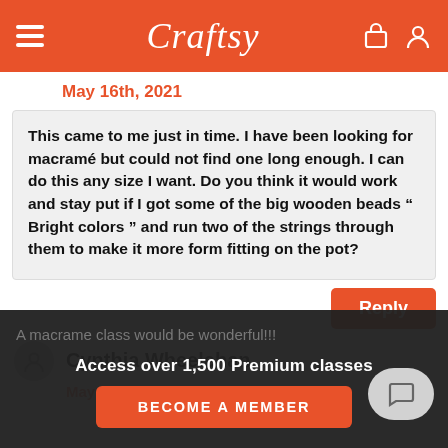Craftsy
May 16th, 2021
This came to me just in time. I have been looking for macramé but could not find one long enough. I can do this any size I want. Do you think it would work and stay put if I got some of the big wooden beads " Bright colors " and run two of the strings through them to make it more form fitting on the pot?
Reply
Cynthia Wheelehan
May 16th, 2021
A macrame class would be wonderful!!!
Access over 1,500 Premium classes
BECOME A MEMBER